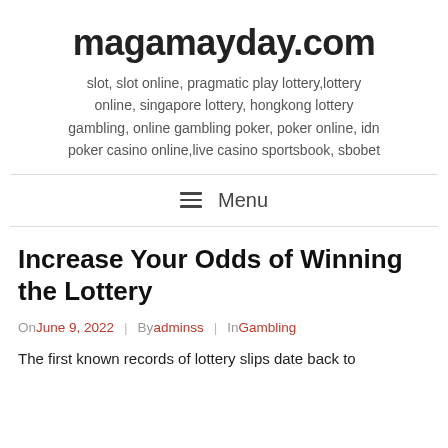magamayday.com
slot, slot online, pragmatic play lottery,lottery online, singapore lottery, hongkong lottery gambling, online gambling poker, poker online, idn poker casino online,live casino sportsbook, sbobet
Menu
Increase Your Odds of Winning the Lottery
On June 9, 2022 | By adminss | In Gambling
The first known records of lottery slips date back to